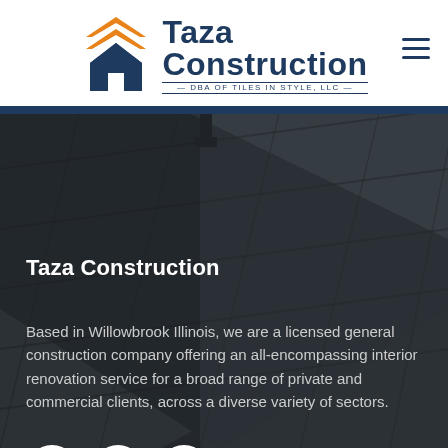[Figure (logo): Taza Construction logo with chevron/house icon in orange and blue, text reading 'Taza Construction DBA OF TILES IN STYLE, LLC']
[Figure (photo): Dark background photo of roofing tiles/panels viewed at an angle]
Taza Construction
Based in Willowbrook Illinois, we are a licensed general construction company offering an all-encompassing interior renovation service for a broad range of private and commercial clients, across a diverse variety of sectors.
[Figure (infographic): Three white circular social media buttons: Facebook (f), Twitter (bird), LinkedIn (in)]
Quick Links